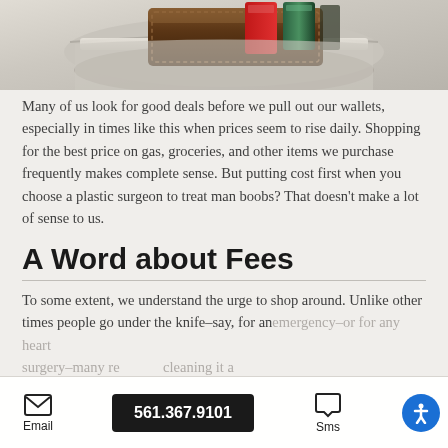[Figure (photo): Close-up photo of a brown leather wallet sticking out of a light beige/cream pants pocket, with credit cards visible.]
Many of us look for good deals before we pull out our wallets, especially in times like this when prices seem to rise daily. Shopping for the best price on gas, groceries, and other items we purchase frequently makes complete sense. But putting cost first when you choose a plastic surgeon to treat man boobs? That doesn't make a lot of sense to us.
A Word about Fees
To some extent, we understand the urge to shop around. Unlike other times people go under the knife–say, for an emergency–or for any heart surgery–many re                   cleaning it a
Email   561.367.9101   Sms